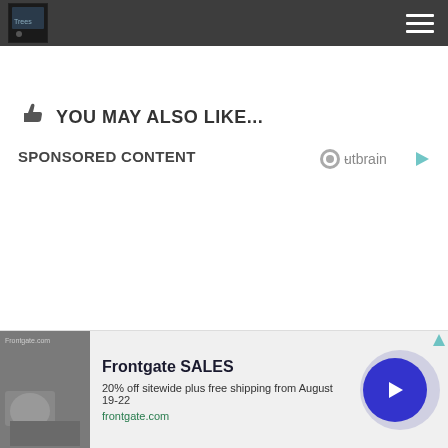Site header with logo and hamburger menu
👍 YOU MAY ALSO LIKE...
SPONSORED CONTENT
[Figure (logo): Outbrain logo with icon]
[Figure (screenshot): Video player error: NO COMPATIBLE SOURCE WAS]
[Figure (infographic): Frontgate SALES advertisement - 20% off sitewide plus free shipping from August 19-22, frontgate.com]